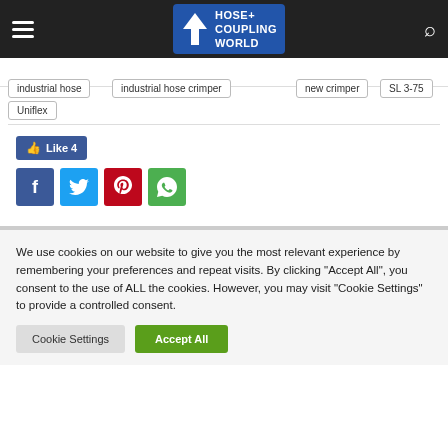Hose+ Coupling World — Navigation header with hamburger menu and search icon
industrial hose
industrial hose crimper
new crimper
SL 3-75
Uniflex
[Figure (infographic): Facebook Like button showing count of 4, and four social share icons: Facebook (dark blue), Twitter (light blue), Pinterest (red), WhatsApp (green)]
We use cookies on our website to give you the most relevant experience by remembering your preferences and repeat visits. By clicking "Accept All", you consent to the use of ALL the cookies. However, you may visit "Cookie Settings" to provide a controlled consent.
Cookie Settings  Accept All